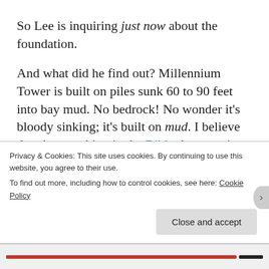So Lee is inquiring just now about the foundation.
And what did he find out? Millennium Tower is built on piles sunk 60 to 90 feet into bay mud. No bedrock! No wonder it’s bloody sinking; it’s built on mud. I believe there’s something in the Bible that mentions the foolishness of that plan. Naturally the residents are
Privacy & Cookies: This site uses cookies. By continuing to use this website, you agree to their use.
To find out more, including how to control cookies, see here: Cookie Policy
Close and accept